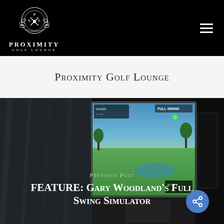Proximity Golf Lounge — site header with logo and navigation
Proximity Golf Lounge
[Figure (photo): Dark indoor golf simulator room with a large screen showing a golf course simulation (Full Swing simulator). The screen displays a green golf course scene with UI overlays. The room has dark walls.]
Previous Post
FEATURE: Gary Woodland's Full Swing Simulator